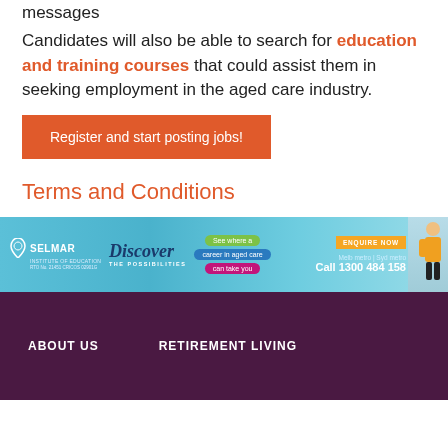messages
Candidates will also be able to search for education and training courses that could assist them in seeking employment in the aged care industry.
Register and start posting jobs!
Terms and Conditions
[Figure (infographic): Selmar Institute of Education advertisement banner: Discover The Possibilities. See where a career in aged care can take you. Melb metro | Syd metro. Call 1300 484 158. ENQUIRE NOW button.]
ABOUT US   RETIREMENT LIVING